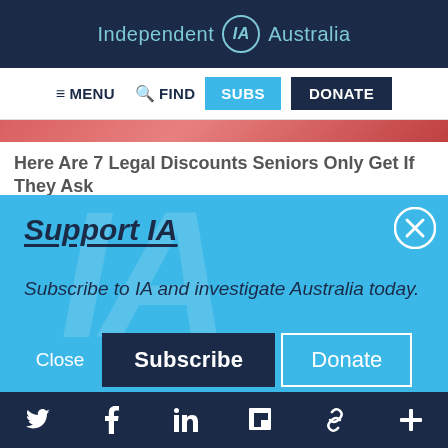Independent IA Australia
≡ MENU  🔍 FIND  SUBS  DONATE
[Figure (photo): Red/pink background image strip (partial, cropped)]
Here Are 7 Legal Discounts Seniors Only Get If They Ask
Senior Discounts By National Penny
Learn More
Support IA
Subscribe to IA and investigate Australia today.
Close  Subscribe  Donate
Twitter  Facebook  LinkedIn  Flipboard  Link  Plus